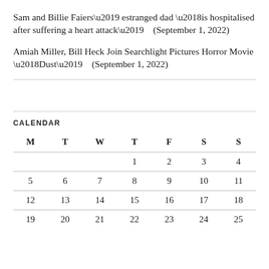Sam and Billie Faiers’ estranged dad ‘is hospitalised after suffering a heart attack’    (September 1, 2022)
Amiah Miller, Bill Heck Join Searchlight Pictures Horror Movie ‘Dust’    (September 1, 2022)
CALENDAR
| M | T | W | T | F | S | S |
| --- | --- | --- | --- | --- | --- | --- |
|  |  |  | 1 | 2 | 3 | 4 |
| 5 | 6 | 7 | 8 | 9 | 10 | 11 |
| 12 | 13 | 14 | 15 | 16 | 17 | 18 |
| 19 | 20 | 21 | 22 | 23 | 24 | 25 |